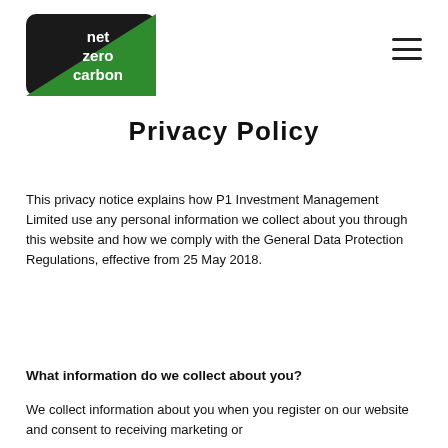[Figure (logo): Net Zero Carbon logo — rounded rectangle with black upper-left triangle and green lower-right area, white text reading 'net zero carbon']
Privacy Policy
This privacy notice explains how P1 Investment Management Limited use any personal information we collect about you through this website and how we comply with the General Data Protection Regulations, effective from 25 May 2018.
What information do we collect about you?
We collect information about you when you register on our website and consent to receiving marketing or other further information from us or make an enquiry.